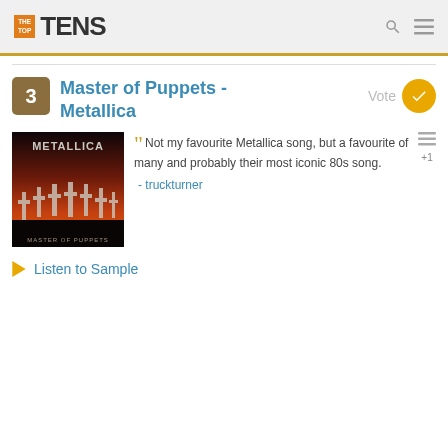THE TOP TENS
Master of Puppets - Metallica
[Figure (photo): Album cover of Master of Puppets by Metallica — dark red/orange sky with crosses in a field, band logo at top, album title at bottom]
Not my favourite Metallica song, but a favourite of many and probably their most iconic 80s song. - truckturner
Listen to Sample